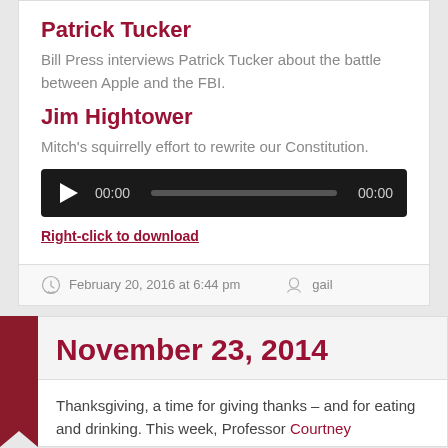Patrick Tucker
Bill Press interviews Patrick Tucker about the battle between Apple and the FBI.
Jim Hightower
Mitch's squirrelly effort to rewrite our Constitution.
[Figure (other): Audio player with play button, 00:00 timestamp, progress bar, and 00:00 end timestamp on dark background]
Right-click to download
February 20, 2016 at 6:44 pm   gail
November 23, 2014
Thanksgiving, a time for giving thanks – and for eating and drinking. This week, Professor Courtney